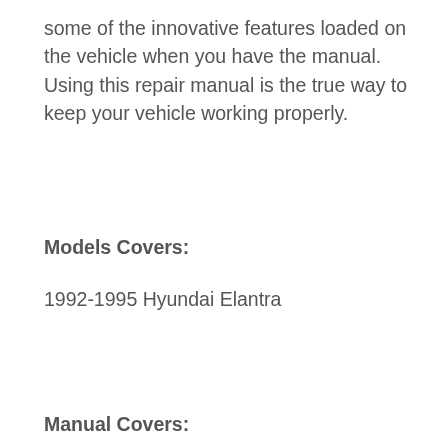some of the innovative features loaded on the vehicle when you have the manual. Using this repair manual is the true way to keep your vehicle working properly.
Models Covers:
1992-1995 Hyundai Elantra
Manual Covers:
Air Conditioning